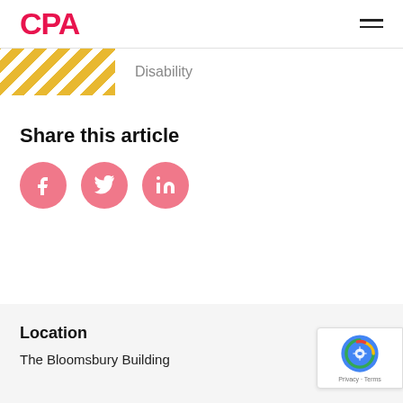CPA
[Figure (infographic): Hazard stripe yellow/white diagonal pattern thumbnail with 'Disability' tag label]
Share this article
[Figure (infographic): Three pink circle social media icons: Facebook, Twitter, LinkedIn]
Location
The Bloomsbury Building